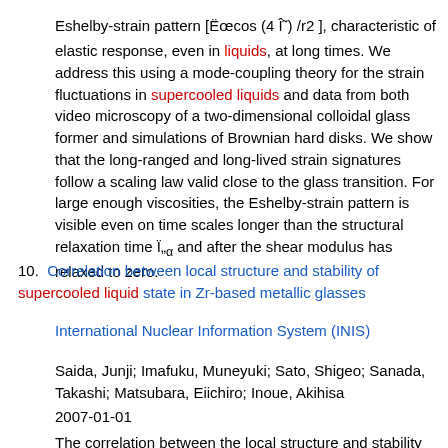Eshelby-strain pattern [Ëœcos (4 Î¸) /r2 ], characteristic of elastic response, even in liquids, at long times. We address this using a mode-coupling theory for the strain fluctuations in supercooled liquids and data from both video microscopy of a two-dimensional colloidal glass former and simulations of Brownian hard disks. We show that the long-ranged and long-lived strain signatures follow a scaling law valid close to the glass transition. For large enough viscosities, the Eshelby-strain pattern is visible even on time scales longer than the structural relaxation time Ï„α and after the shear modulus has relaxed to zero.
10. Correlation between local structure and stability of supercooled liquid state in Zr-based metallic glasses
International Nuclear Information System (INIS)
Saida, Junji; Imafuku, Muneyuki; Sato, Shigeo; Sanada, Takashi; Matsubara, Eiichiro; Inoue, Akihisa
2007-01-01
The correlation between the local structure and stability of supercooled liquid state is investigated in the Zr-70 (Ni, Cu) 30...